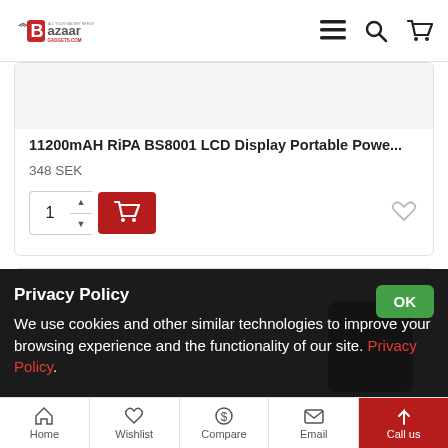[Figure (logo): Bazaar Gadgets logo with stylized B and red branding]
11200mAH RiPA BS8001 LCD Display Portable Powe...
348 SEK
[Figure (photo): Product image area (partially visible at top of second card)]
Privacy Policy
We use cookies and other similar technologies to improve your browsing experience and the functionality of our site. Privacy Policy.
Home   Wishlist   Compare   Email   Call us